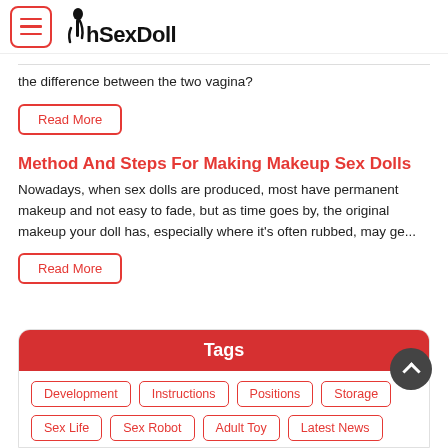OhSexDoll
the difference between the two vagina?
Read More
Method And Steps For Making Makeup Sex Dolls
Nowadays, when sex dolls are produced, most have permanent makeup and not easy to fade, but as time goes by, the original makeup your doll has, especially where it's often rubbed, may ge...
Read More
Tags
Development
Instructions
Positions
Storage
Sex Life
Sex Robot
Adult Toy
Latest News